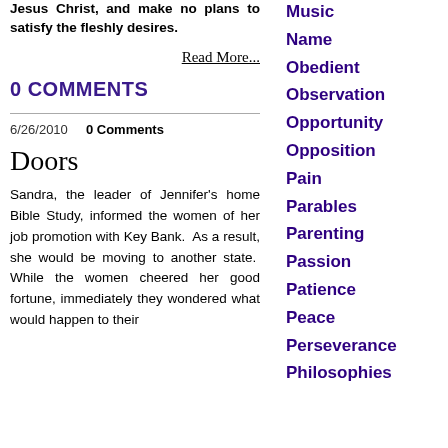Jesus Christ, and make no plans to satisfy the fleshly desires.
Read More...
0 COMMENTS
6/26/2010   0 Comments
Doors
Sandra, the leader of Jennifer's home Bible Study, informed the women of her job promotion with Key Bank.  As a result, she would be moving to another state.  While the women cheered her good fortune, immediately they wondered what would happen to their
Music
Name
Obedient
Observation
Opportunity
Opposition
Pain
Parables
Parenting
Passion
Patience
Peace
Perseverance
Philosophies